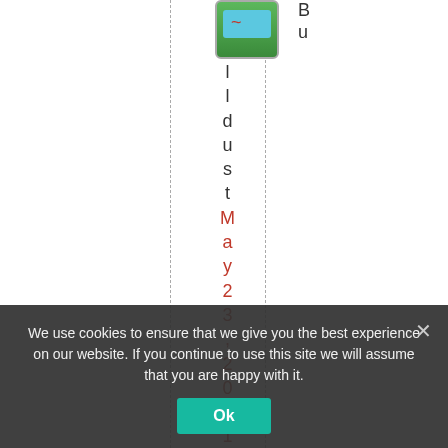[Figure (screenshot): Website screenshot showing a partially visible app icon with a blue/green background and squiggly line, and vertical stacked text characters forming 'lldust' in dark color and 'May 23 ,2011...' in red, with dashed vertical guide lines. A cookie consent banner overlays the bottom portion with text and an Ok button.]
Bu
l
l
d
u
s
t
M
a
y
2
3
,
2
0
1
1
0
We use cookies to ensure that we give you the best experience on our website. If you continue to use this site we will assume that you are happy with it.
Ok